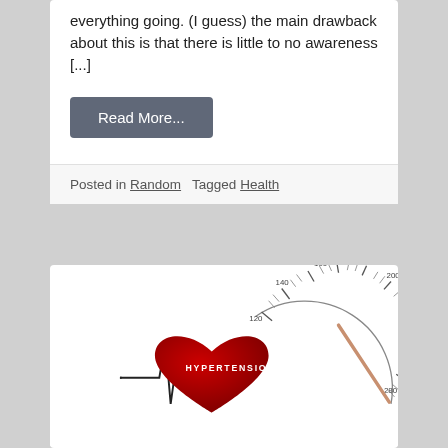everything going. (I guess) the main drawback about this is that there is little to no awareness [...]
Read More...
Posted in Random   Tagged Health
[Figure (illustration): Hypertension medical illustration showing a red heart with the word HYPERTENSION written across it, an ECG/heartbeat waveform on the left, and a blood pressure gauge on the right with markings from 120 to 300.]